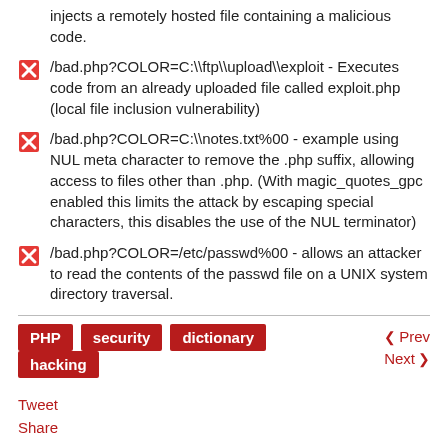injects a remotely hosted file containing a malicious code.
/bad.php?COLOR=C:\ftp\upload\exploit - Executes code from an already uploaded file called exploit.php (local file inclusion vulnerability)
/bad.php?COLOR=C:\notes.txt%00 - example using NUL meta character to remove the .php suffix, allowing access to files other than .php. (With magic_quotes_gpc enabled this limits the attack by escaping special characters, this disables the use of the NUL terminator)
/bad.php?COLOR=/etc/passwd%00 - allows an attacker to read the contents of the passwd file on a UNIX system directory traversal.
PHP | security | dictionary | hacking
Prev | Next
Tweet
Share